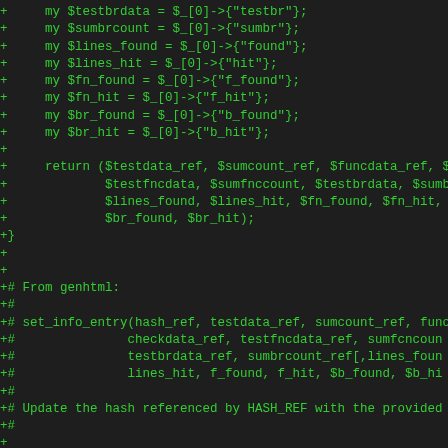[Figure (screenshot): Code diff snippet showing Perl code additions (green '+' prefixed lines) including variable assignments from hash references, a return statement, closing brace, comment block describing set_info_entry function signature, and beginning of sub set_info_entry definition with variable assignments.]